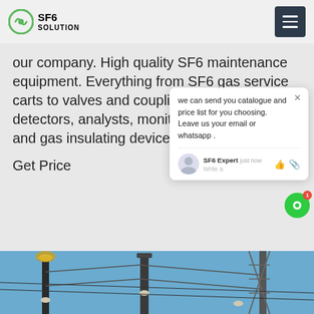SF6 SOLUTION
our company. High quality SF6 maintenance equipment. Everything from SF6 gas service carts to valves and couplings, including leak detectors, analysts, monitoring equipment, and gas insulating devices.
Get Price
we can send you catalogue and price list for you choosing. Leave us your email or whatsapp . SF6 Expert   just now   Write a
[Figure (photo): Electrical substation tower with high voltage insulators and power lines against a blue sky]